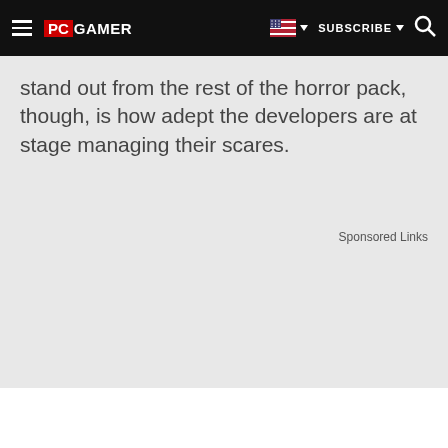PC GAMER | SUBSCRIBE
stand out from the rest of the horror pack, though, is how adept the developers are at stage managing their scares.
Sponsored Links